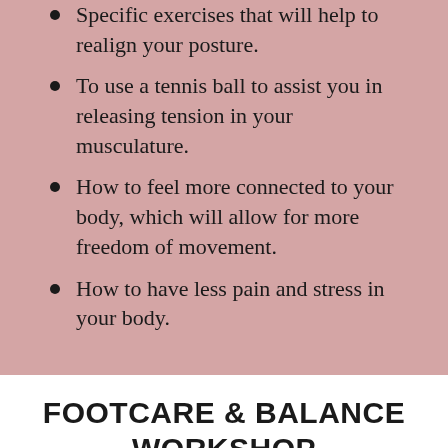Specific exercises that will help to realign your posture.
To use a tennis ball to assist you in releasing tension in your musculature.
How to feel more connected to your body, which will allow for more freedom of movement.
How to have less pain and stress in your body.
FOOTCARE & BALANCE WORKSHOP
As we age it is so important to take care of our feet for our feet health